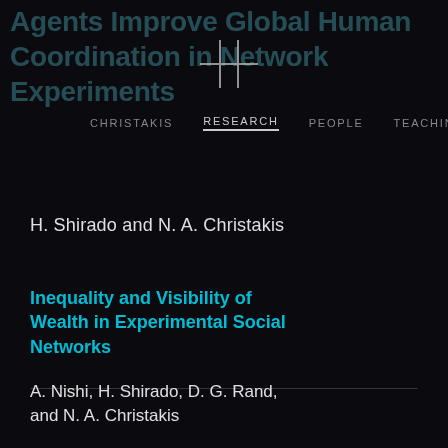Agents Improve Global Human Coordination in Network Experiments
CHRISTAKIS   RESEARCH   PEOPLE   TEACHING
H. Shirado and N. A. Christakis
Inequality and Visibility of Wealth in Experimental Social Networks
A. Nishi, H. Shirado, D. G. Rand, and N. A. Christakis